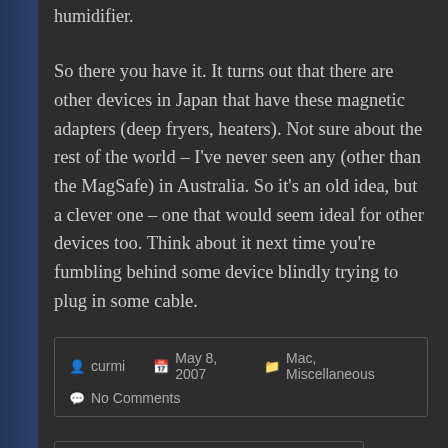humidifier.
So there you have it. It turns out that there are other devices in Japan that have these magnetic adapters (deep fryers, heaters). Not sure about the rest of the world – I've never seen any (other than the MagSafe) in Australia. So it's an old idea, but a clever one – one that would seem ideal for other devices too. Think about it next time you're fumbling behind some device blindly trying to plug in some cable.
curmi   May 8, 2007   Mac, Miscellaneous
No Comments
← Thoughts on the iPhone
Improving Mac OS X: #5 – International English →